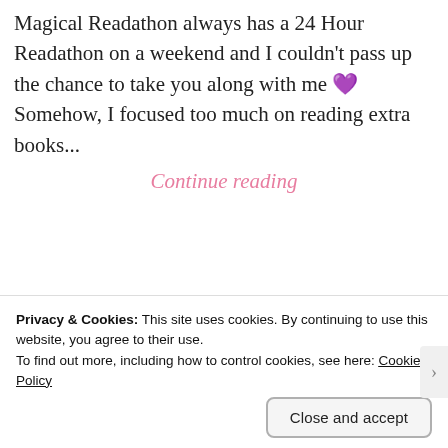Magical Readathon always has a 24 Hour Readathon on a weekend and I couldn't pass up the chance to take you along with me 💜 Somehow, I focused too much on reading extra books...
Continue reading
[Figure (other): Three button/sewing button decorative divider icons on a dashed horizontal line]
[Figure (other): Pink book or object bar visible at bottom of page]
Privacy & Cookies: This site uses cookies. By continuing to use this website, you agree to their use.
To find out more, including how to control cookies, see here: Cookie Policy
Close and accept